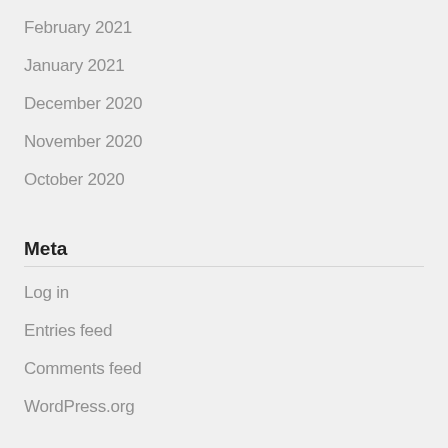February 2021
January 2021
December 2020
November 2020
October 2020
Meta
Log in
Entries feed
Comments feed
WordPress.org
Pages